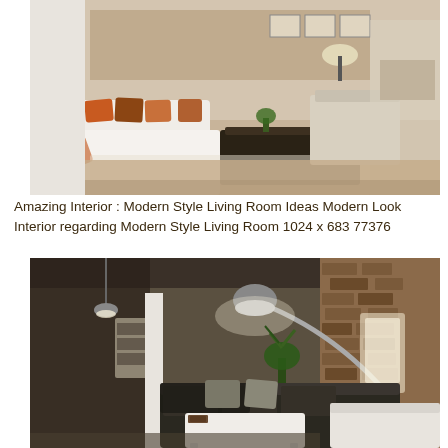[Figure (photo): Modern style living room interior with white sectional sofa, orange accent pillows, dark coffee table, wood-paneled wall, and open floor plan leading to dining area.]
Amazing Interior : Modern Style Living Room Ideas Modern Look Interior regarding Modern Style Living Room 1024 x 683 77376
[Figure (photo): Modern living room interior at night with dark sectional sofa, white coffee table, arc floor lamp with chrome dome shade, brick accent wall, and open kitchen area in background.]